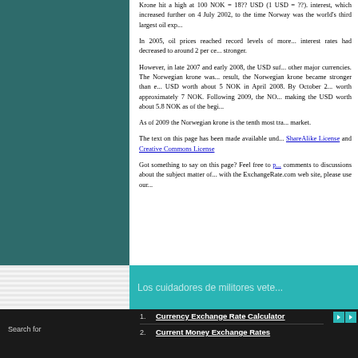Krone hit a high at 100 NOK = 18?? USD (1 USD = ??). interest, which increased further on 4 July 2002, to the time Norway was the world's third largest oil exp...
In 2005, oil prices reached record levels of more... interest rates had decreased to around 2 per ce... stronger.
However, in late 2007 and early 2008, the USD suf... other major currencies. The Norwegian krone was... result, the Norwegian krone became stronger than e... USD worth about 5 NOK in April 2008. By October 2... worth approximately 7 NOK. Following 2009, the NO... making the USD worth about 5.8 NOK as of the begi...
As of 2009 the Norwegian krone is the tenth most tra... market.
The text on this page has been made available und... ShareAlike License and Creative Commons License
Got something to say on this page? Feel free to p... comments to discussions about the subject matter of... with the ExchangeRate.com web site, please use our...
Los cuidadores de militores vete...
1. Currency Exchange Rate Calculator
2. Current Money Exchange Rates
Search for